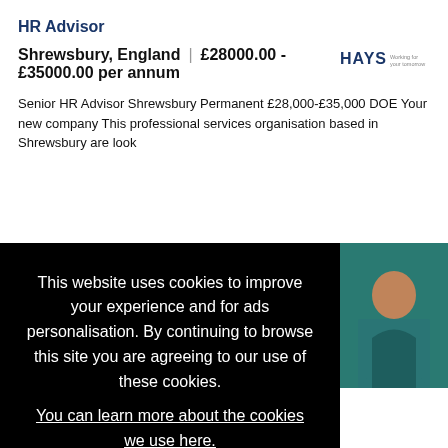HR Advisor
Shrewsbury, England | £28000.00 - £35000.00 per annum
[Figure (logo): HAYS logo with tagline 'Working for your tomorrow']
Senior HR Advisor Shrewsbury Permanent £28,000-£35,000 DOE Your new company This professional services organisation based in Shrewsbury are look
This website uses cookies to improve your experience and for ads personalisation. By continuing to browse this site you are agreeing to our use of these cookies.
You can learn more about the cookies we use here.
OK